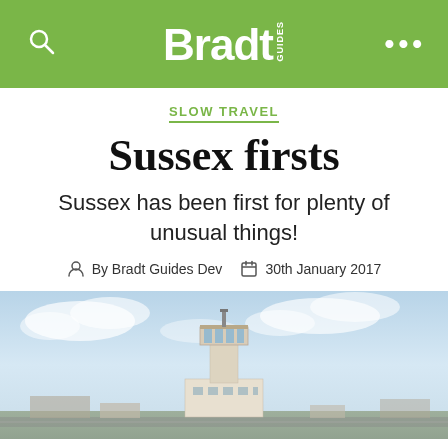Bradt GUIDES
SLOW TRAVEL
Sussex firsts
Sussex has been first for plenty of unusual things!
By Bradt Guides Dev  30th January 2017
[Figure (photo): Photograph of an airport control tower under a partly cloudy sky, likely Shoreham Airport in Sussex]